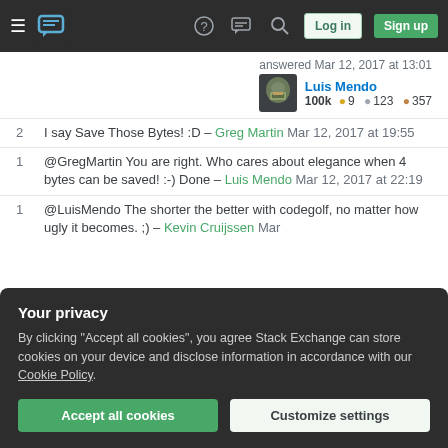Stack Exchange navigation bar with hamburger menu, logo, help, chat, search icons, Log in and Sign up buttons
answered Mar 12, 2017 at 13:01
Luis Mendo 100k ● 9 ● 123 ● 357
2 I say Save Those Bytes! :D – Greg Martin Mar 12, 2017 at 19:55
1 @GregMartin You are right. Who cares about elegance when 4 bytes can be saved! :-) Done – Luis Mendo Mar 12, 2017 at 22:19
1 @LuisMendo The shorter the better with codegolf, no matter how ugly it becomes. ;) – Kevin Cruijssen Mar
Your privacy
By clicking "Accept all cookies", you agree Stack Exchange can store cookies on your device and disclose information in accordance with our Cookie Policy.
Accept all cookies  Customize settings